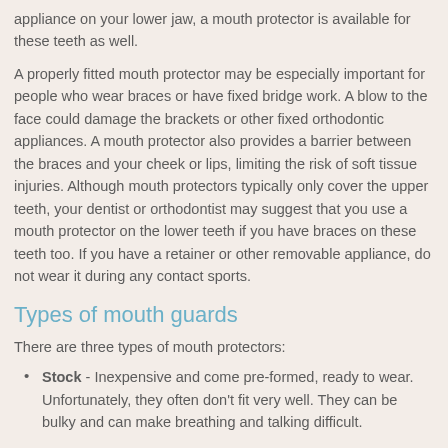appliance on your lower jaw, a mouth protector is available for these teeth as well.
A properly fitted mouth protector may be especially important for people who wear braces or have fixed bridge work. A blow to the face could damage the brackets or other fixed orthodontic appliances. A mouth protector also provides a barrier between the braces and your cheek or lips, limiting the risk of soft tissue injuries. Although mouth protectors typically only cover the upper teeth, your dentist or orthodontist may suggest that you use a mouth protector on the lower teeth if you have braces on these teeth too. If you have a retainer or other removable appliance, do not wear it during any contact sports.
Types of mouth guards
There are three types of mouth protectors:
Stock - Inexpensive and come pre-formed, ready to wear. Unfortunately, they often don't fit very well. They can be bulky and can make breathing and talking difficult.
Boil and bite - Can be bought at many sporting goods stores